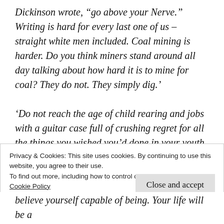Dickinson wrote, “go above your Nerve.” Writing is hard for every last one of us – straight white men included. Coal mining is harder. Do you think miners stand around all day talking about how hard it is to mine for coal? They do not. They simply dig.’
‘Do not reach the age of child rearing and jobs with a guitar case full of crushing regret for all the things you wished you’d done in your youth. I know too many people who didn’t do those things.
Privacy & Cookies: This site uses cookies. By continuing to use this website, you agree to their use.
To find out more, including how to control cookies, see here:
Cookie Policy
Close and accept
believe yourself capable of being. Your life will be a